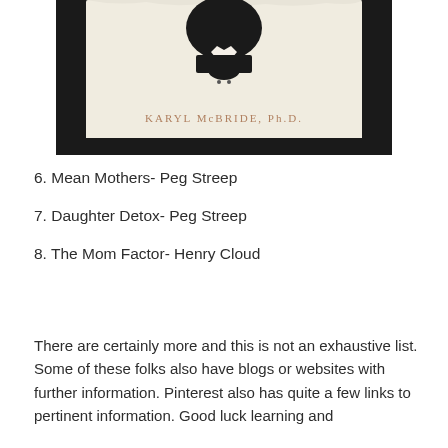[Figure (photo): Book cover showing a person in a black dress viewed from below with the text 'KARYL McBRIDE, Ph.D.' on a white background]
6. Mean Mothers- Peg Streep
7. Daughter Detox- Peg Streep
8. The Mom Factor- Henry Cloud
There are certainly more and this is not an exhaustive list. Some of these folks also have blogs or websites with further information. Pinterest also has quite a few links to pertinent information. Good luck learning and